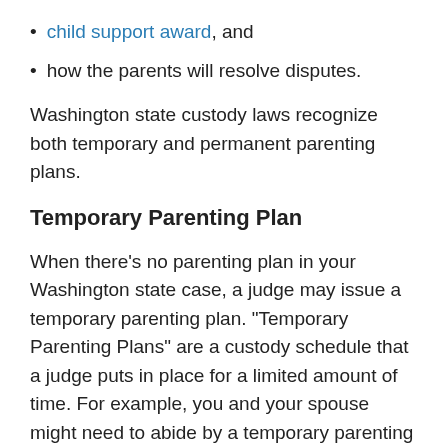child support award, and
how the parents will resolve disputes.
Washington state custody laws recognize both temporary and permanent parenting plans.
Temporary Parenting Plan
When there’s no parenting plan in your Washington state case, a judge may issue a temporary parenting plan. "Temporary Parenting Plans" are a custody schedule that a judge puts in place for a limited amount of time. For example, you and your spouse might need to abide by a temporary parenting plan while your divorce or custody case is finalized.
Just like a permanent or final parenting plan, a